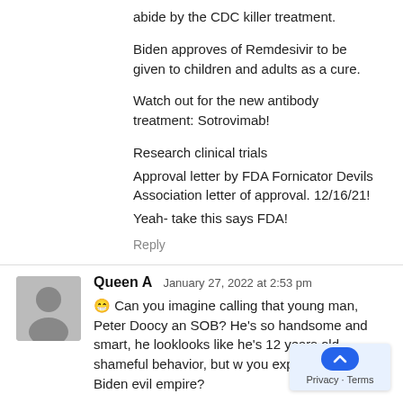abide by the CDC killer treatment.

Biden approves of Remdesivir to be given to children and adults as a cure.

Watch out for the new antibody treatment: Sotrovimab!

Research clinical trials
Approval letter by FDA Fornicator Devils Association letter of approval. 12/16/21!
Yeah- take this says FDA!
Reply
Queen A January 27, 2022 at 2:53 pm
😁 Can you imagine calling that young man, Peter Doocy an SOB? He's so handsome and smart, he looks like he's 12 years old… shameful behavior, but w you expect from the Biden evil empire?